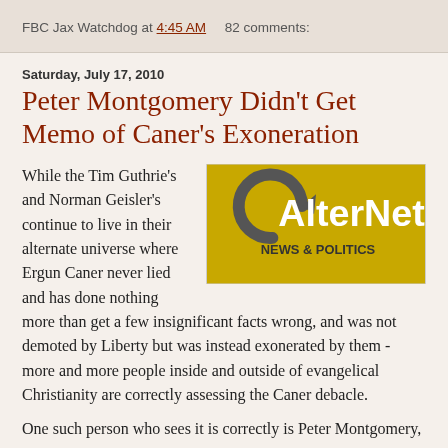FBC Jax Watchdog at 4:45 AM    82 comments:
Saturday, July 17, 2010
Peter Montgomery Didn't Get Memo of Caner's Exoneration
[Figure (logo): AlterNet NEWS & POLITICS logo — yellow/gold background with a circular arrow graphic and the text 'AlterNet' in large white letters and 'NEWS & POLITICS' in dark bold letters]
While the Tim Guthrie's and Norman Geisler's continue to live in their alternate universe where Ergun Caner never lied and has done nothing more than get a few insignificant facts wrong, and was not demoted by Liberty but was instead exonerated by them - more and more people inside and outside of evangelical Christianity are correctly assessing the Caner debacle.
One such person who sees it is correctly is Peter Montgomery,